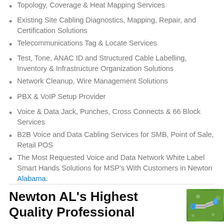Topology, Coverage & Heat Mapping Services
Existing Site Cabling Diagnostics, Mapping, Repair, and Certification Solutions
Telecommunications Tag & Locate Services
Test, Tone, ANAC ID and Structured Cable Labelling, Inventory & Infrastructure Organization Solutions
Network Cleanup, Wire Management Solutions
PBX & VoIP Setup Provider
Voice & Data Jack, Punches, Cross Connects & 66 Block Services
B2B Voice and Data Cabling Services for SMB, Point of Sale, Retail POS
The Most Requested Voice and Data Network White Label Smart Hands Solutions for MSP's With Customers in Newton Alabama.
Newton AL's Highest Quality Professional
[Figure (photo): Photo of ethernet/network cables with blue connectors on green background]